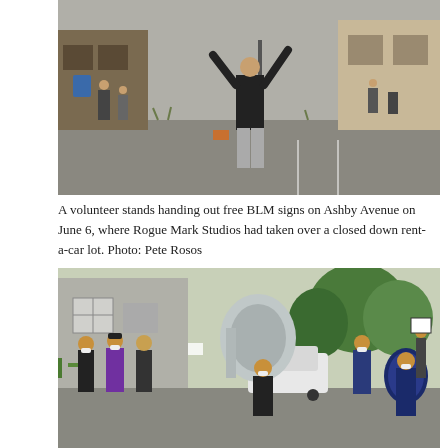[Figure (photo): Outdoor scene showing a person in a black shirt and gray pants standing with arms raised, handing out free BLM signs on Ashby Avenue. Several other people are visible in the background in what appears to be a parking lot area.]
A volunteer stands handing out free BLM signs on Ashby Avenue on June 6, where Rogue Mark Studios had taken over a closed down rent-a-car lot. Photo: Pete Rosos
[Figure (photo): A marching band with people wearing masks and colorful outfits, including purple and black, playing instruments including a large suba/tuba and drums, marching in a street protest. Trees and buildings visible in background.]